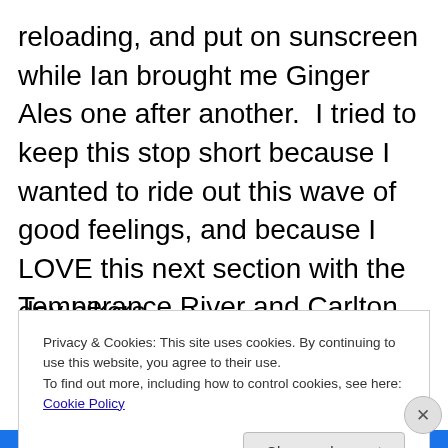reloading, and put on sunscreen while Ian brought me Ginger Ales one after another.  I tried to keep this stop short because I wanted to ride out this wave of good feelings, and because I LOVE this next section with the Temperance River and Carlton Peak. I hit the trail and ate a gel and some Honey Stinger chews to fuel for the climb up Carlton.  I walked for about 15 mins to let my stomach settle down, and then stopped at the Temperance River to wash down with my bandana.  Then I started running whatever I could and pounded out those flats dodging the day hikers.
Privacy & Cookies: This site uses cookies. By continuing to use this website, you agree to their use.
To find out more, including how to control cookies, see here: Cookie Policy